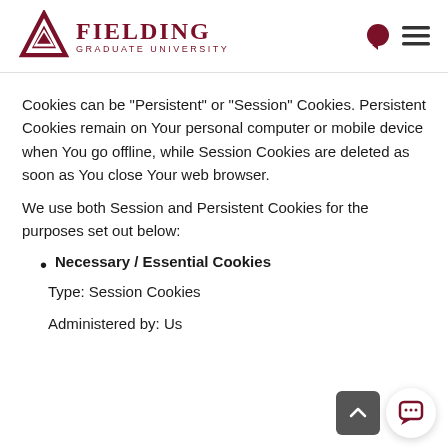Fielding Graduate University
Cookies can be "Persistent" or "Session" Cookies. Persistent Cookies remain on Your personal computer or mobile device when You go offline, while Session Cookies are deleted as soon as You close Your web browser.
We use both Session and Persistent Cookies for the purposes set out below:
Necessary / Essential Cookies
Type: Session Cookies
Administered by: Us